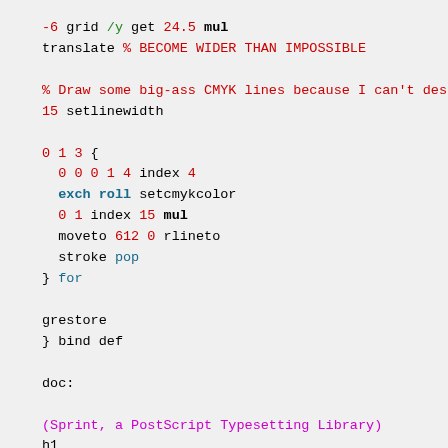-6 grid /y get 24.5 mul
translate % BECOME WIDER THAN IMPOSSIBLE

% Draw some big-ass CMYK lines because I can't des
15 setlinewidth

0 1 3 {
  0 0 0 1 4 index 4
  exch roll setcmykcolor
  0 1 index 15 mul
  moveto 612 0 rlineto
  stroke pop
} for

grestore
} bind def

doc:

(Sprint, a PostScript Typesetting Library)
h1

(PostScript is probably best known as a device-indep
p+

(It provides various drawing commands, facilitating
doc:
(Sprint, a PostScript Typesetting Library)
h1
(PostScript is probably best known as a device-indep
p+
(It provides various drawing commands, facilitating